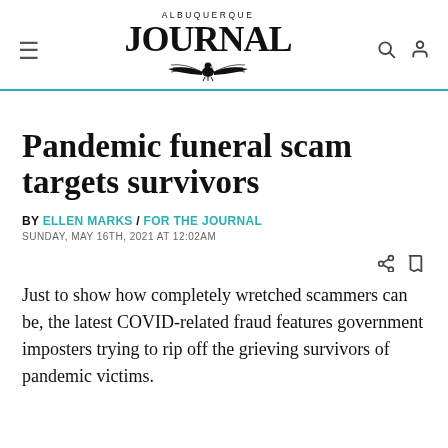ALBUQUERQUE JOURNAL
Pandemic funeral scam targets survivors
BY ELLEN MARKS / FOR THE JOURNAL
SUNDAY, MAY 16TH, 2021 AT 12:02AM
Just to show how completely wretched scammers can be, the latest COVID-related fraud features government imposters trying to rip off the grieving survivors of pandemic victims.